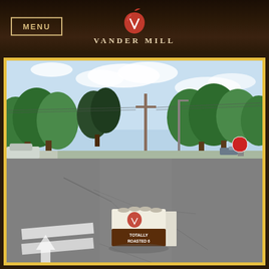MENU
VANDER MILL
[Figure (photo): A Vander Mill 'Totally Roasted' 6-pack of canned hard cider sitting on a cracked asphalt road at an intersection, with green trees, utility poles, and suburban street in the background under a partly cloudy sky.]